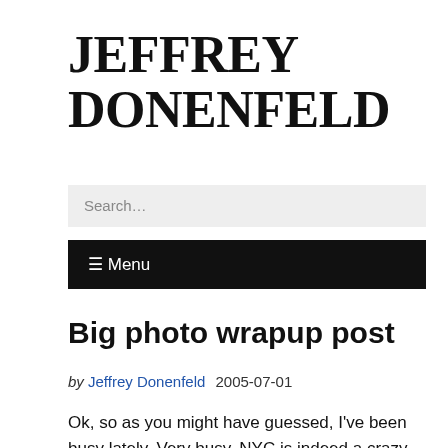JEFFREY DONENFELD
Search...
≡ Menu
Big photo wrapup post
by Jeffrey Donenfeld 2005-07-01
Ok, so as you might have guessed, I've been busy lately. Very busy. NYC is indeed a crazy town.